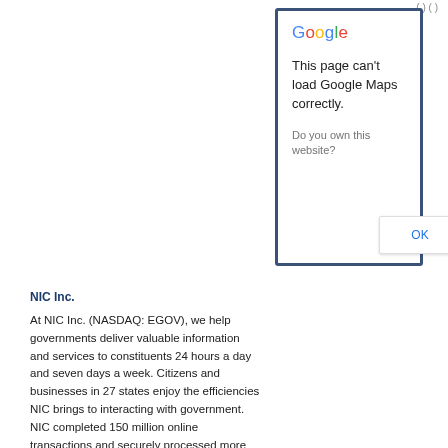( ) ( )
[Figure (screenshot): Google Maps error dialog with message 'This page can't load Google Maps correctly.' and 'Do you own this website?' with OK button, shown inside a dark blue bordered box.]
NIC Inc.
At NIC Inc. (NASDAQ: EGOV), we help governments deliver valuable information and services to constituents 24 hours a day and seven days a week. Citizens and businesses in 27 states enjoy the efficiencies NIC brings to interacting with government. NIC completed 150 million online transactions and securely processed more